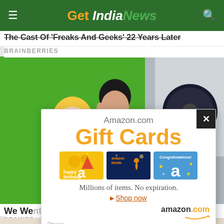Get India News
The Cast Of 'Freaks And Geeks' 22 Years Later
BRAINBERRIES
[Figure (screenshot): Webpage screenshot showing a cartoon animation scene with green screen background, a Disney-like animated female character and a dark-haired man, plus a real-life office background on the right side with a fan visible.]
[Figure (advertisement): Amazon.com Gift Cards popup advertisement showing 'Gift Cards' in large orange text, three gift card images (Happy Birthday, Amazon Kindle, Congratulations), tagline 'Millions of items. No expiration.' with Shop now link and amazon.com logo. Has an X close button.]
We We...se Her Fe...
BRAINBE...
Privacy